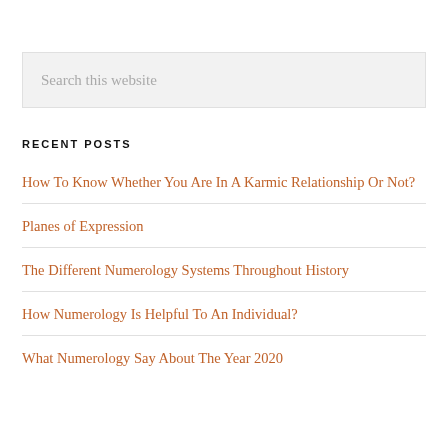Search this website
RECENT POSTS
How To Know Whether You Are In A Karmic Relationship Or Not?
Planes of Expression
The Different Numerology Systems Throughout History
How Numerology Is Helpful To An Individual?
What Numerology Say About The Year 2020